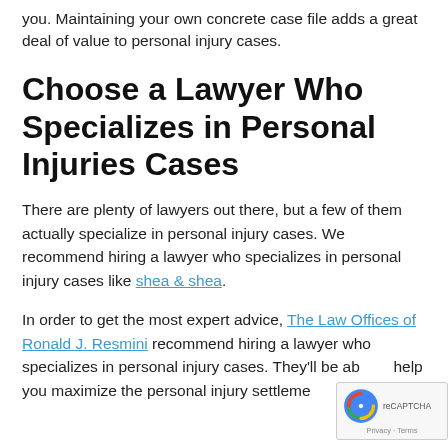you. Maintaining your own concrete case file adds a great deal of value to personal injury cases.
Choose a Lawyer Who Specializes in Personal Injuries Cases
There are plenty of lawyers out there, but a few of them actually specialize in personal injury cases. We recommend hiring a lawyer who specializes in personal injury cases like shea & shea.
In order to get the most expert advice, The Law Offices of Ronald J. Resmini recommend hiring a lawyer who specializes in personal injury cases. They'll be able to help you maximize the personal injury settlement amount for…